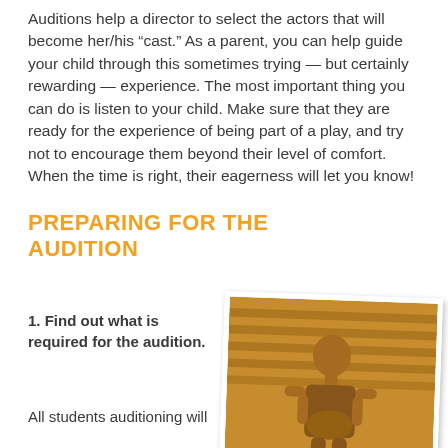Auditions help a director to select the actors that will become her/his “cast.” As a parent, you can help guide your child through this sometimes trying — but certainly rewarding — experience. The most important thing you can do is listen to your child. Make sure that they are ready for the experience of being part of a play, and try not to encourage them beyond their level of comfort. When the time is right, their eagerness will let you know!
PREPARING FOR THE AUDITION
1. Find out what is required for the audition.
All students auditioning will
[Figure (photo): Sepia-toned photo of a child holding something, standing in front of shelves or bleachers, in a Polaroid-style frame tilted slightly.]